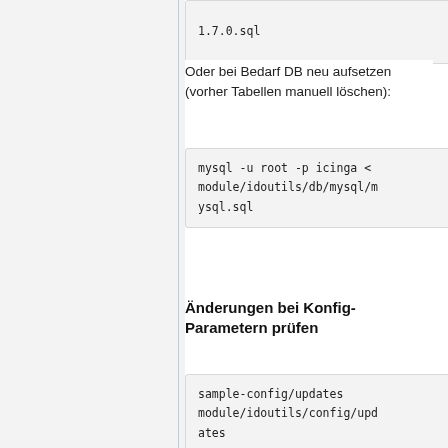1.7.0.sql
Oder bei Bedarf DB neu aufsetzen (vorher Tabellen manuell löschen):
mysql -u root -p icinga <
module/idoutils/db/mysql/m
ysql.sql
Änderungen bei Konfig-Parametern prüfen
sample-config/updates
module/idoutils/config/upd
ates
Neustart
su
/etc/init.d/icinga stop